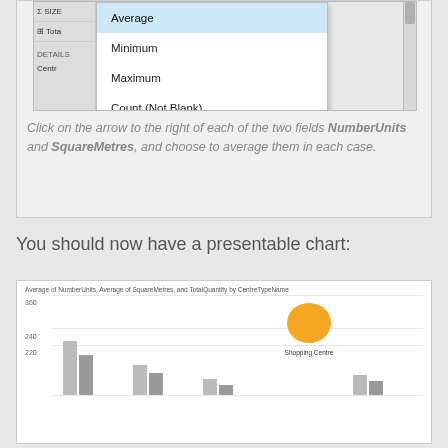[Figure (screenshot): Screenshot showing a dropdown menu with options: Average (highlighted in blue), Minimum, Maximum, Count (Not Blank), Count (Distinct). Left panel shows Sigma SIZE and Total fields, and DETAILS/Centre labels.]
Click on the arrow to the right of each of the two fields NumberUnits and SquareMetres, and choose to average them in each case.
You should now have a presentable chart:
[Figure (screenshot): Screenshot of a chart titled 'Average of NumberUnits, Average of SquareMetres, and TotalQuantity by CentreTypeName' showing bars and an orange bubble labeled 'Shopping Centre'. Y-axis shows values 360, 240, 220.]